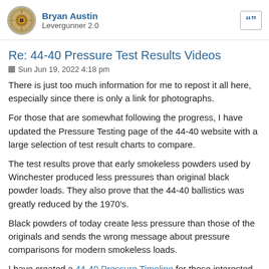Bryan Austin
Levergunner 2.0
Re: 44-40 Pressure Test Results Videos
Sun Jun 19, 2022 4:18 pm
There is just too much information for me to repost it all here, especially since there is only a link for photographs.
For those that are somewhat following the progress, I have updated the Pressure Testing page of the 44-40 website with a large selection of test result charts to compare.
The test results prove that early smokeless powders used by Winchester produced less pressures than original black powder loads. They also prove that the 44-40 ballistics was greatly reduced by the 1970's.
Black powders of today create less pressure than those of the originals and sends the wrong message about pressure comparisons for modern smokeless loads.
I have created a 44-40 Pressure Timeline for those interested.
I have also updated the 44-40 google docs pages with the Recent Pressure Test Results, also for those interested in understanding the myths of this cartridge's performance of yesteryear up today.